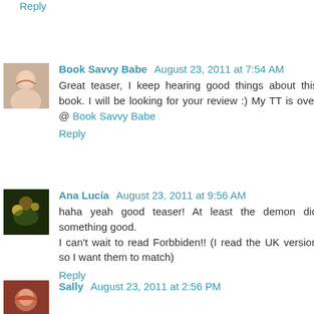Reply
Book Savvy Babe  August 23, 2011 at 7:54 AM
Great teaser, I keep hearing good things about this book. I will be looking for your review :) My TT is over @ Book Savvy Babe
Reply
Ana Lucía  August 23, 2011 at 9:56 AM
haha yeah good teaser! At least the demon did something good.
I can't wait to read Forbbiden!! (I read the UK version so I want them to match)
Reply
Sally  August 23, 2011 at 2:56 PM